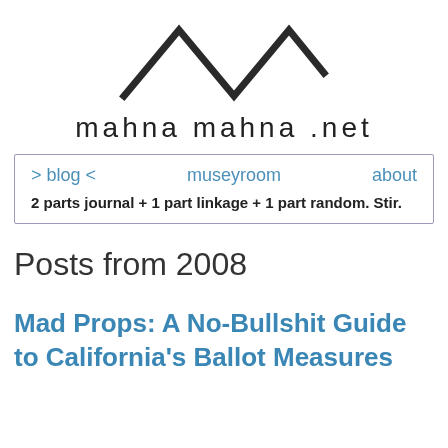[Figure (logo): Geometric logo made of zigzag mountain/wave lines resembling /\/\/\/ in dark gray]
mahna mahna .net
| > blog < | museyroom | about |
| --- | --- | --- |
| 2 parts journal + 1 part linkage + 1 part random. Stir. |  |  |
Posts from 2008
Mad Props: A No-Bullshit Guide to California's Ballot Measures